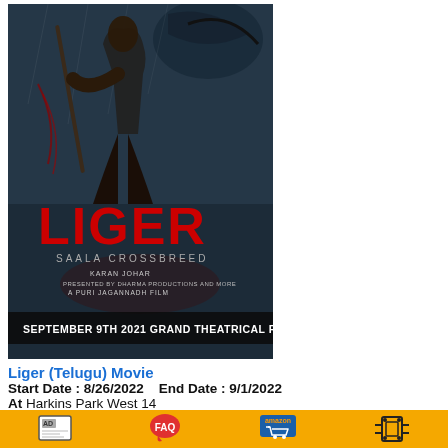[Figure (photo): Movie poster for Liger (Telugu) showing a fighter holding a staff with a large bird in background. Red text reads LIGER with subtitle SAALA CROSSBREED. Text at bottom: SEPTEMBER 9TH 2021 GRAND THEATRICAL RELEASE.]
Liger (Telugu) Movie
Start Date : 8/26/2022    End Date : 9/1/2022
At Harkins Park West 14
Host : Harkins Park West 14
[Figure (infographic): Footer bar with golden/yellow background containing four icons: AD icon, FAQ speech bubble icon, Amazon shopping cart icon, and a film/projector icon]